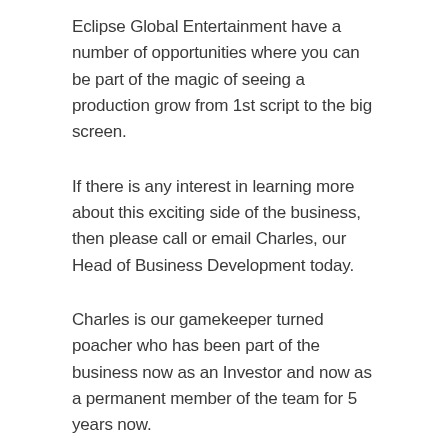Eclipse Global Entertainment have a number of opportunities where you can be part of the magic of seeing a production grow from 1st script to the big screen.
If there is any interest in learning more about this exciting side of the business, then please call or email Charles, our Head of Business Development today.
Charles is our gamekeeper turned poacher who has been part of the business now as an Investor and now as a permanent member of the team for 5 years now.